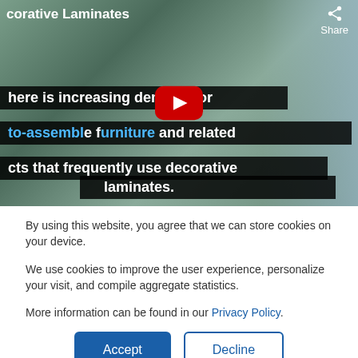[Figure (screenshot): YouTube video thumbnail showing a person assembling furniture, with subtitle text overlay reading 'there is increasing demand for to-assemble furniture and related cts that frequently use decorative laminates.' A YouTube play button is visible. Title bar shows 'corative Laminates' and a Share button.]
By using this website, you agree that we can store cookies on your device.
We use cookies to improve the user experience, personalize your visit, and compile aggregate statistics.
More information can be found in our Privacy Policy.
Accept
Decline